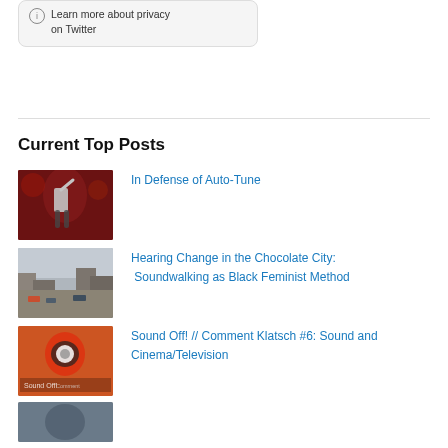Learn more about privacy on Twitter
Current Top Posts
[Figure (photo): Concert photo with performer in white shirt raising arm, red lighting background]
In Defense of Auto-Tune
[Figure (photo): Aerial/elevated view of urban street with traffic and buildings]
Hearing Change in the Chocolate City: Soundwalking as Black Feminist Method
[Figure (photo): Person in red shirt holding megaphone, Sound Off commentary image]
Sound Off! // Comment Klatsch #6: Sound and Cinema/Television
[Figure (photo): Partial thumbnail image at bottom]